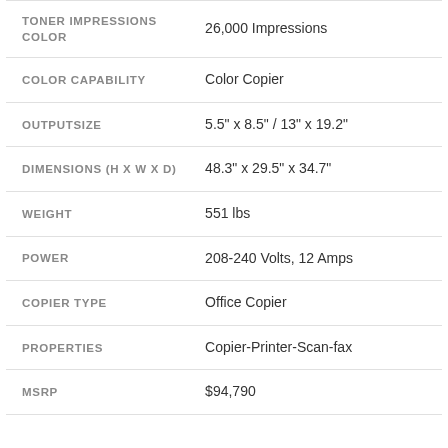| Attribute | Value |
| --- | --- |
| TONER IMPRESSIONS COLOR | 26,000 Impressions |
| COLOR CAPABILITY | Color Copier |
| OUTPUTSIZE | 5.5" x 8.5" / 13" x 19.2" |
| DIMENSIONS (H X W X D) | 48.3" x 29.5" x 34.7" |
| WEIGHT | 551 lbs |
| POWER | 208-240 Volts, 12 Amps |
| COPIER TYPE | Office Copier |
| PROPERTIES | Copier-Printer-Scan-fax |
| MSRP | $94,790 |